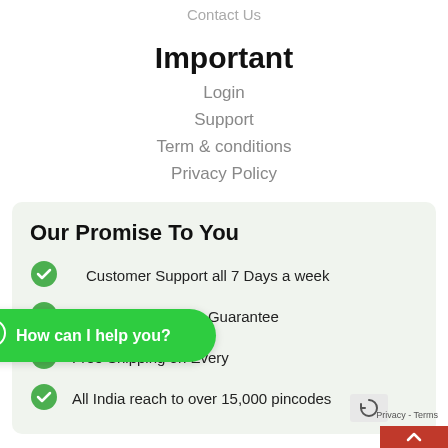Contact Us
Important
Login
Support
Term & conditions
Privacy Policy
Our Promise To You
Customer Support all 7 Days a week
Maximum Shelf Life Guarantee
Free Shipping on Every
All India reach to over 15,000 pincodes
How can I help you?